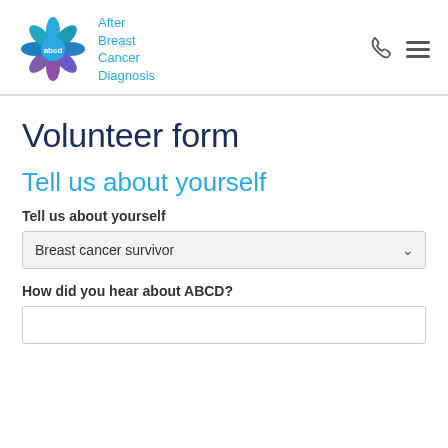[Figure (logo): ABCD After Breast Cancer Diagnosis logo — flower/petal shape in blue, teal, purple with 'abcd' text, beside the text 'After Breast Cancer Diagnosis' in light blue]
Volunteer form
Tell us about yourself
Tell us about yourself
Breast cancer survivor
How did you hear about ABCD?